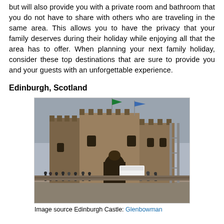but will also provide you with a private room and bathroom that you do not have to share with others who are traveling in the same area. This allows you to have the privacy that your family deserves during their holiday while enjoying all that the area has to offer. When planning your next family holiday, consider these top destinations that are sure to provide you and your guests with an unforgettable experience.
Edinburgh, Scotland
[Figure (photo): Edinburgh Castle exterior view with tourists in the foreground, showing the historic stone fortress on a rock.]
Image source Edinburgh Castle: Glenbowman